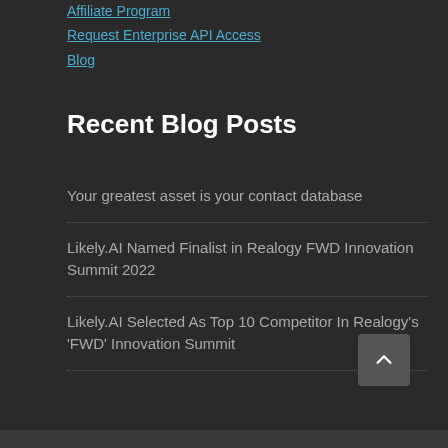Affiliate Program
Request Enterprise API Access
Blog
Recent Blog Posts
Your greatest asset is your contact database
Likely.AI Named Finalist in Realogy FWD Innovation Summit 2022
Likely.AI Selected As Top 10 Competitor In Realogy's 'FWD' Innovation Summit